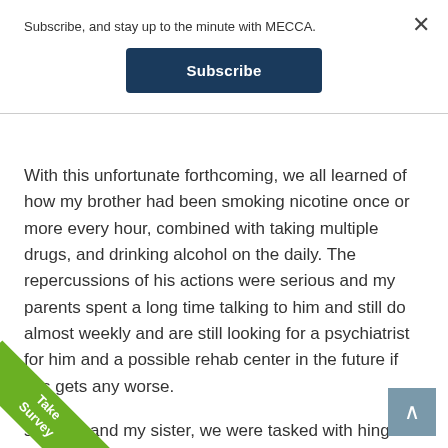Subscribe, and stay up to the minute with MECCA.
Subscribe
With this unfortunate forthcoming, we all learned of how my brother had been smoking nicotine once or more every hour, combined with taking multiple drugs, and drinking alcohol on the daily. The repercussions of his actions were serious and my parents spent a long time talking to him and still do almost weekly and are still looking for a psychiatrist for him and a possible rehab center in the future if this gets any worse.
s for me and my sister, we were tasked with hing over him when he was at home and r he went to report anything suspicious to